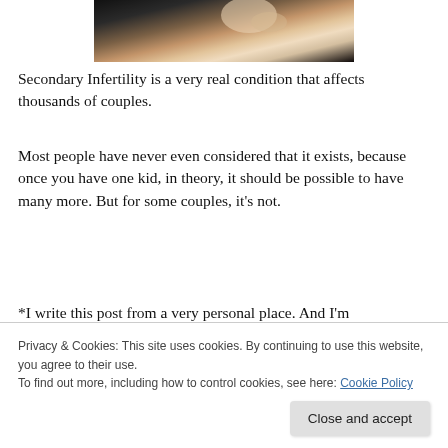[Figure (photo): Close-up photo of hands or fingers against a dark background, skin tones visible]
Secondary Infertility is a very real condition that affects thousands of couples.
Most people have never even considered that it exists, because once you have one kid, in theory, it should be possible to have many more. But for some couples, it’s not.
*I write this post from a very personal place. And I’m
Privacy & Cookies: This site uses cookies. By continuing to use this website, you agree to their use.
To find out more, including how to control cookies, see here: Cookie Policy